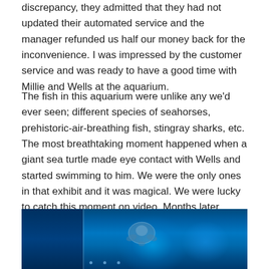discrepancy, they admitted that they had not updated their automated service and the manager refunded us half our money back for the inconvenience. I was impressed by the customer service and was ready to have a good time with Millie and Wells at the aquarium.
The fish in this aquarium were unlike any we'd ever seen; different species of seahorses, prehistoric-air-breathing fish, stingray sharks, etc. The most breathtaking moment happened when a giant sea turtle made eye contact with Wells and started swimming to him. We were the only ones in that exhibit and it was magical. We were lucky to catch this moment on video. Months later, Wells still watches the sea turtle video with amazement.
[Figure (photo): An underwater aquarium photo with blue lighting showing a sea turtle or marine creature swimming in the center, with a dark panel on the left side and blue-lit water on the right.]